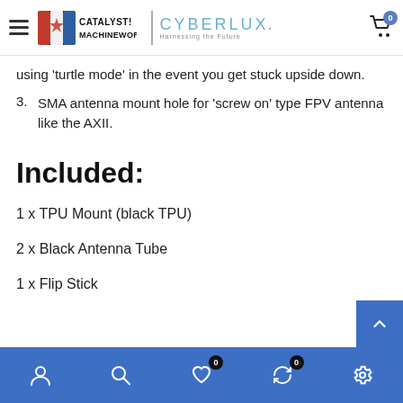Catalyst Machineworks | CyberLux - Harnessing the Future
using 'turtle mode' in the event you get stuck upside down.
3. SMA antenna mount hole for 'screw on' type FPV antenna like the AXII.
Included:
1 x TPU Mount (black TPU)
2 x Black Antenna Tube
1 x Flip Stick
Navigation bar: user, search, wishlist (0), orders (0), settings